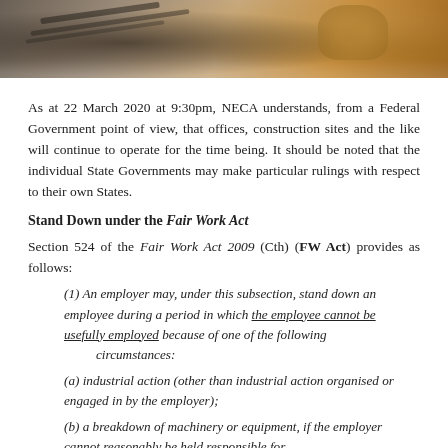[Figure (photo): Cropped photo of a person's hands working at a desk with papers and a telephone, warm tones.]
As at 22 March 2020 at 9:30pm, NECA understands, from a Federal Government point of view, that offices, construction sites and the like will continue to operate for the time being. It should be noted that the individual State Governments may make particular rulings with respect to their own States.
Stand Down under the Fair Work Act
Section 524 of the Fair Work Act 2009 (Cth) (FW Act) provides as follows:
(1) An employer may, under this subsection, stand down an employee during a period in which the employee cannot be usefully employed because of one of the following circumstances:
(a) industrial action (other than industrial action organised or engaged in by the employer);
(b) a breakdown of machinery or equipment, if the employer cannot reasonably be held responsible for